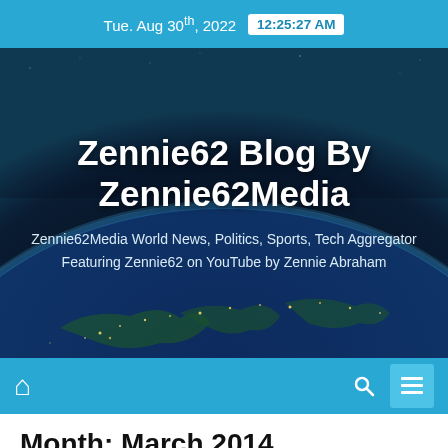Tue. Aug 30th, 2022  12:25:27 AM
Zennie62 Blog By Zennie62Media
Zennie62Media World News, Politics, Sports, Tech Aggregator Featuring Zennie62 on YouTube by Zennie Abraham
Home Search Menu
Month: March 2014